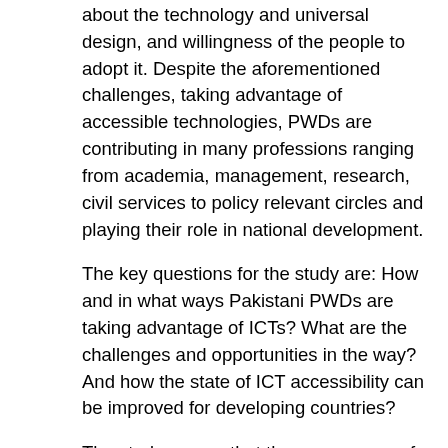about the technology and universal design, and willingness of the people to adopt it. Despite the aforementioned challenges, taking advantage of accessible technologies, PWDs are contributing in many professions ranging from academia, management, research, civil services to policy relevant circles and playing their role in national development.
The key questions for the study are: How and in what ways Pakistani PWDs are taking advantage of ICTs? What are the challenges and opportunities in the way? And how the state of ICT accessibility can be improved for developing countries?
The study argues that the appearance of PWDs in superior services exams; Pakistan being a ratified signatory to UNCRPD; PTA conducting the national level Mobile App Award 2016 under the theme: “Embracing Mobile Accessibility for PWDs”; and, Pakistan’s National IT policy 2017 dedicating a section to address the concerns of PWDs are all indicative